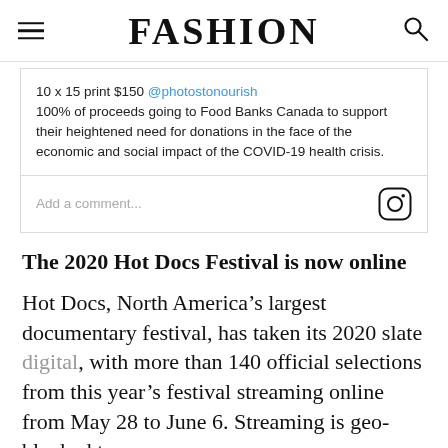FASHION
[Figure (screenshot): Instagram embed card showing post text: '10 x 15 print $150 @photostonourish 100% of proceeds going to Food Banks Canada to support their heightened need for donations in the face of the economic and social impact of the COVID-19 health crisis.' with a comment input field and Instagram icon at the bottom.]
The 2020 Hot Docs Festival is now online
Hot Docs, North America’s largest documentary festival, has taken its 2020 slate digital, with more than 140 official selections from this year’s festival streaming online from May 28 to June 6. Streaming is geo-blocked to